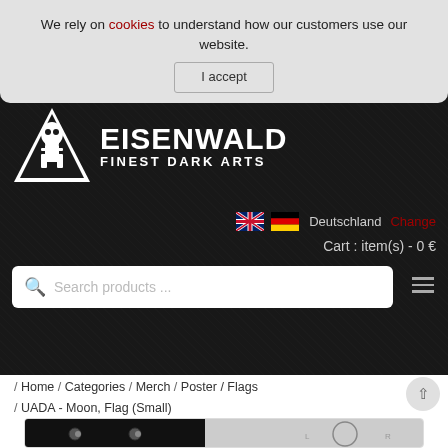We rely on cookies to understand how our customers use our website.
I accept
[Figure (logo): Eisenwald Finest Dark Arts logo — white triangle with skull figure on dark background, text EISENWALD FINEST DARK ARTS]
Deutschland  Change
Cart : item(s) - 0 €
Search products ...
/ Home / Categories / Merch / Poster / Flags / UADA - Moon, Flag (Small)
[Figure (photo): Partial product photo of a black flag (UADA - Moon, Flag Small) folded, with decorative circular artwork visible on right side]